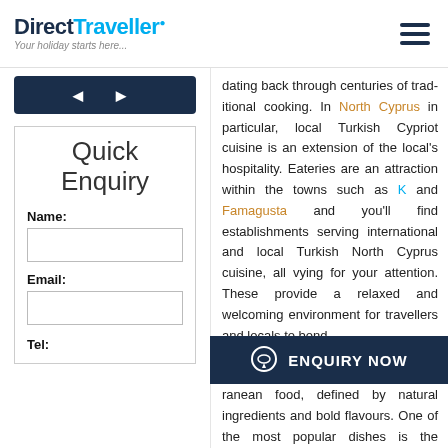DirectTraveller · Your holiday starts here...
dating back through centuries of traditional cooking. In North Cyprus in particular, local Turkish Cypriot cuisine is an extension of the local's hospitality. Eateries are an attraction within the towns such as K... and Famagusta and you'll find establishments serving international and local Turkish North Cyprus cuisine, all vying for your attention. These provide a relaxed and welcoming environment for travellers and locals to bond. Cypriot cuisine is classic Mediterranean food, defined by natural ingredients and bold flavours. One of the most popular dishes is the Meze, ...ta... wet the app... al...
Quick Enquiry
Name:
Email:
Tel: